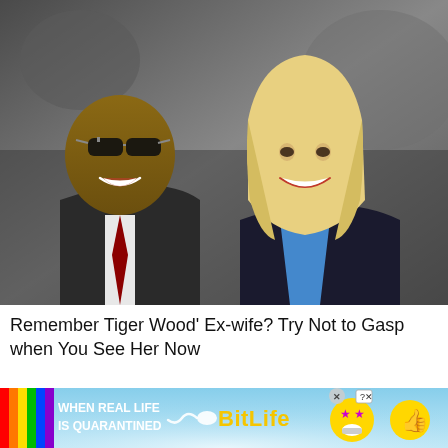[Figure (photo): A man wearing sunglasses and a dark suit with a red patterned tie stands next to a smiling blonde woman wearing a blue turtleneck. Both are smiling.]
Remember Tiger Wood' Ex-wife? Try Not to Gasp when You See Her Now
[Figure (infographic): BitLife advertisement banner with rainbow stripe on left, white text 'WHEN REAL LIFE IS QUARANTINED' on light blue background, a sperm icon, 'BitLife' in yellow bold text, star-eyed emoji, and thumbs up emoji. Has close X button and help ? button.]